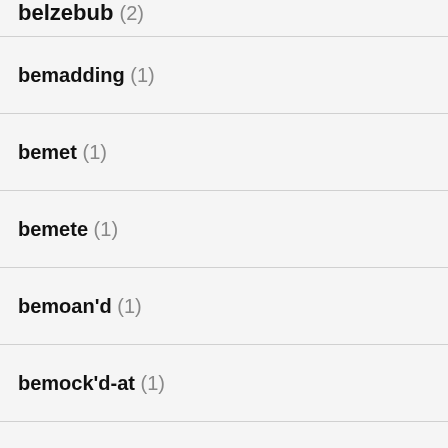belzebub (2)
bemadding (1)
bemet (1)
bemete (1)
bemoan'd (1)
bemock'd-at (1)
bemoil'd (1)
bemonster (1)
ben (4)
a mountain or tall hill  NOUN